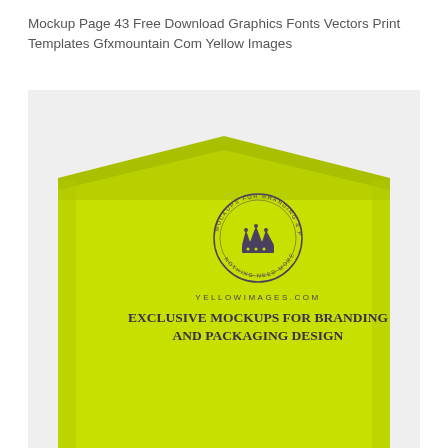Mockup Page 43 Free Download Graphics Fonts Vectors Print Templates Gfxmountain Com Yellow Images
[Figure (photo): A yellow-green matte cardboard box or packaging mockup shown from the top-front angle. The box has a distinctive angled/peaked top edge. Printed on the front face is a circular crown logo badge with text around it reading 'MOCKUPS FOR BRANDING & PACKAGING' with a crown illustration in the center, below which is the text 'YELLOWIMAGES.COM' in spaced capitals and 'EXCLUSIVE MOCKUPS FOR BRANDING AND PACKAGING DESIGN' in bold serif text. The background behind the box is light gray.]